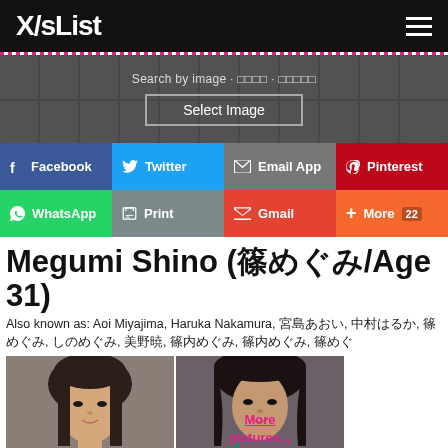X/sList
[Figure (screenshot): Search by image banner with face thumbnails background and Select Image button]
[Figure (infographic): Social sharing buttons: Facebook, Twitter, Email App, Pinterest, WhatsApp, Print, Gmail, More 22]
Megumi Shino (篠めぐみ/Age 31)
Also known as: Aoi Miyajima, Haruka Nakamura, 宮島あおい, 中村はるか, 篠めぐみ, しのめぐみ, 美野暁, 篠内めぐみ, 篠内めぐみ, 篠めぐ
[Figure (photo): Two photos of Megumi Shino with More pictures link overlay]